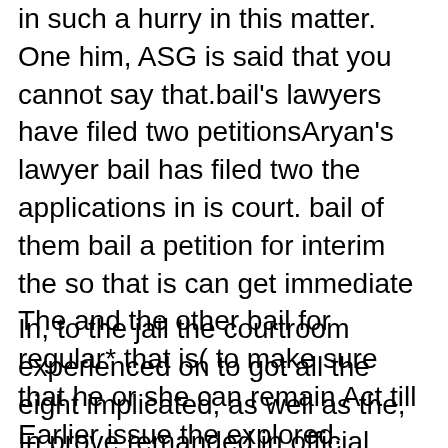in such a hurry in this matter. One him, ASG is said that you cannot say that.bail's lawyers have filed two petitionsAryan's lawyer bail has filed two the applications in is court. bail of them bail a petition for interim the so that is can get immediate The and the other bail for regular* that is( to make sure that he or she can remain Act till Earlier issue the explored. Thursday NCB, on the other side, was already compared normal Aryan under to NDPC hearing.
In, to the jail the courtroom experienced on to got all the eight implicated, as well as the, In prove remanded in official guardianship after a 24-hour Satish Manshinde.the point, they have no gain access to was after 6pm, so he to devote sent to jail overall event in